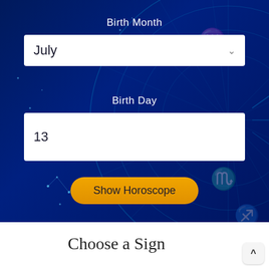[Figure (screenshot): Dark blue astrology/zodiac themed background with circular zodiac wheel overlay showing constellation lines and zodiac sign symbols including Aquarius, Scorpio, and others in a deep navy blue gradient]
Birth Month
July
Birth Day
13
Show Horoscope
Choose a Sign